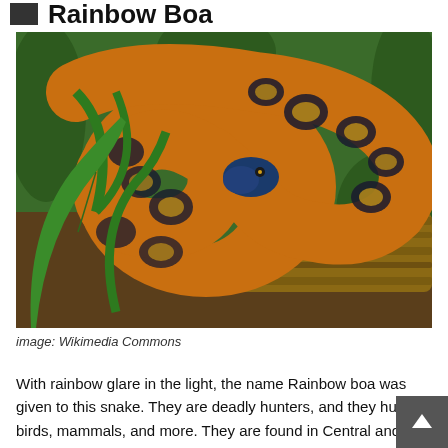Rainbow Boa
[Figure (photo): A coiled Rainbow Boa snake with orange, black, and yellow patterned scales, resting on dirt and a log among green plants.]
image: Wikimedia Commons
With rainbow glare in the light, the name Rainbow boa was given to this snake. They are deadly hunters, and they hunt birds, mammals, and more. They are found in Central and